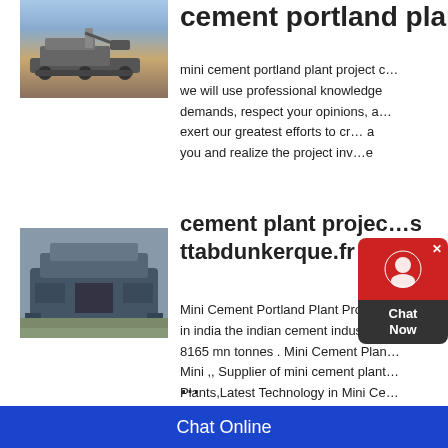cement portland plant p…
[Figure (photo): Heavy excavator/crusher machine on dirt ground with trees in background]
mini cement portland plant project c… we will use professional knowledge to meet your demands, respect your opinions, and exert our greatest efforts to create a better future for you and realize the project inv…e
[Figure (photo): Large industrial crushing/screening machine outdoors]
cement plant projec…s ttabdunkerque.fr
Mini Cement Portland Plant Project … in india the indian cement industry w… 8165 mn tonnes . Mini Cement Plan… Mini ,, Supplier of mini cement plant… Plants,Latest Technology in Mini Ce…
Chat Online